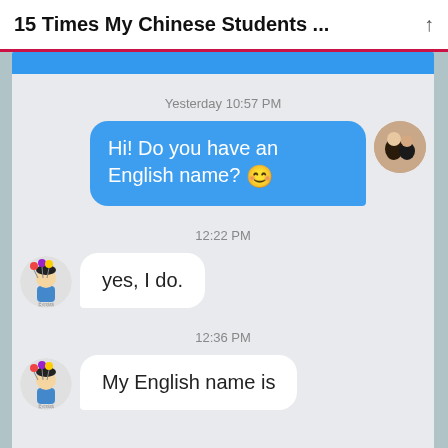15 Times My Chinese Students ...
Yesterday 10:57 PM
Hi! Do you have an English name? 😊
12:22 PM
yes, I  do.
12:36 PM
My English name is